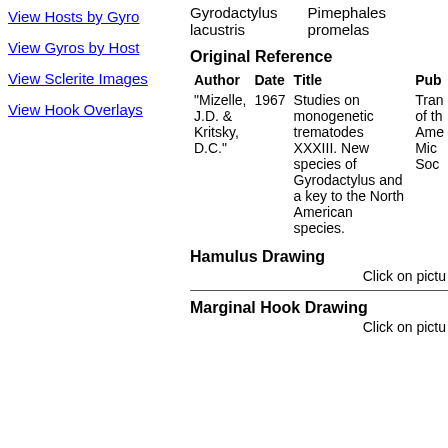View Hosts by Gyro
View Gyros by Host
View Sclerite Images
View Hook Overlays
Gyrodactylus lacustris    Pimephales promelas
Original Reference
| Author | Date | Title | Pub |
| --- | --- | --- | --- |
| "Mizelle, J.D. & Kritsky, D.C." | 1967 | Studies on monogenetic trematodes XXXIII. New species of Gyrodactylus and a key to the North American species. | Tran of th Ame Mic Soc |
Hamulus Drawing
Click on pictu
Marginal Hook Drawing
Click on pictu